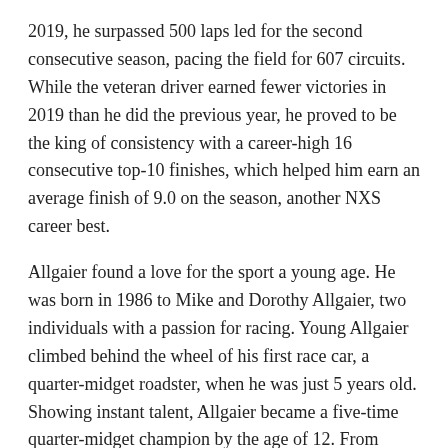2019, he surpassed 500 laps led for the second consecutive season, pacing the field for 607 circuits. While the veteran driver earned fewer victories in 2019 than he did the previous year, he proved to be the king of consistency with a career-high 16 consecutive top-10 finishes, which helped him earn an average finish of 9.0 on the season, another NXS career best.
Allgaier found a love for the sport a young age. He was born in 1986 to Mike and Dorothy Allgaier, two individuals with a passion for racing. Young Allgaier climbed behind the wheel of his first race car, a quarter-midget roadster, when he was just 5 years old. Showing instant talent, Allgaier became a five-time quarter-midget champion by the age of 12. From quarter-midgets, he advanced to midget and micro-sprint features and then began racing in the UMP Late Model Series.
In 2001, at the age of 14, Allgaier became the youngest driver to advance to an A-Main at the Chili Bowl, the star-studded midget racing event in Tulsa, Okla. When he turned 16, Allgaier dabbled in